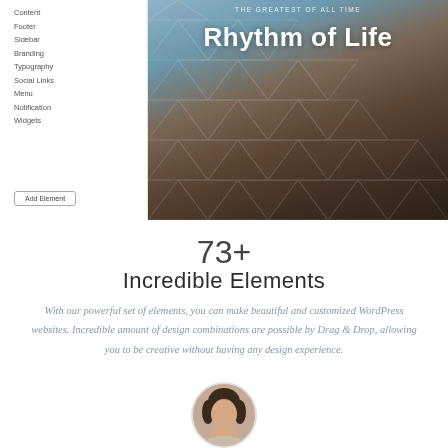[Figure (screenshot): WordPress website builder screenshot showing left sidebar navigation with items: Content, Footer, Sidebar, Branding, Typography, Social Links, Menu, Notification, Widgets, and an 'Add Element' button. Right side shows a hero image of a geometric geodesic dome structure with text overlay 'THE GREATEST OF ALL TIME' and large bold title 'Rhythm of Life'.]
73+
Incredible Elements
With our powerful set of elements, you can make beautiful and customized WordPress websites. Incredible amount of design combinations are possible by Drag & Drop, allowing you to be creative without having any design experience.
[Figure (photo): Circular cropped portrait photo of a woman with dark hair, partially visible at the bottom of the page.]